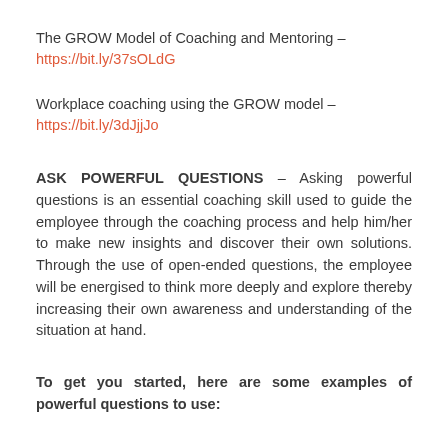The GROW Model of Coaching and Mentoring – https://bit.ly/37sOLdG
Workplace coaching using the GROW model – https://bit.ly/3dJjjJo
ASK POWERFUL QUESTIONS – Asking powerful questions is an essential coaching skill used to guide the employee through the coaching process and help him/her to make new insights and discover their own solutions. Through the use of open-ended questions, the employee will be energised to think more deeply and explore thereby increasing their own awareness and understanding of the situation at hand.
To get you started, here are some examples of powerful questions to use:
70 Coaching Questions for Managers Using the GROW Model – https://bit.ly/2HpxC9M